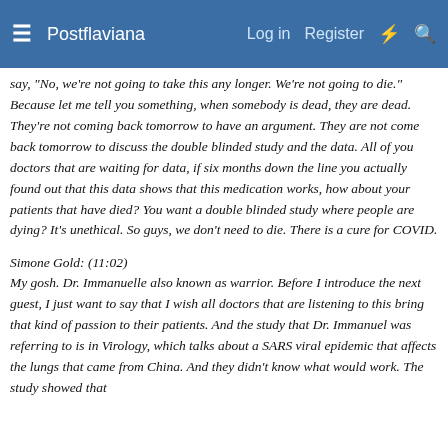Postflaviana | Log in | Register
say, "No, we're not going to take this any longer. We're not going to die." Because let me tell you something, when somebody is dead, they are dead. They're not coming back tomorrow to have an argument. They are not come back tomorrow to discuss the double blinded study and the data. All of you doctors that are waiting for data, if six months down the line you actually found out that this data shows that this medication works, how about your patients that have died? You want a double blinded study where people are dying? It's unethical. So guys, we don't need to die. There is a cure for COVID.
Simone Gold: (11:02)
My gosh. Dr. Immanuelle also known as warrior. Before I introduce the next guest, I just want to say that I wish all doctors that are listening to this bring that kind of passion to their patients. And the study that Dr. Immanuel was referring to is in Virology, which talks about a SARS viral epidemic that affects the lungs that came from China. And they didn't know what would work. The study showed that